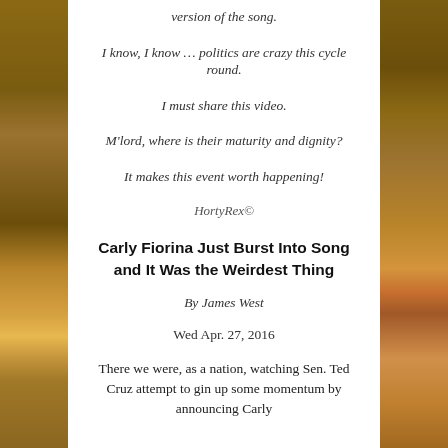version of the song.
I know, I know … politics are crazy this cycle round.
I must share this video.
M'lord, where is their maturity and dignity?
It makes this event worth happening!
HortyRex©
Carly Fiorina Just Burst Into Song and It Was the Weirdest Thing
By James West
Wed Apr. 27, 2016
There we were, as a nation, watching Sen. Ted Cruz attempt to gin up some momentum by announcing Carly